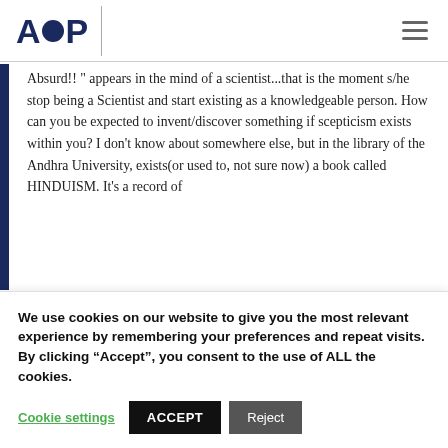AOP
Absurd!! " appears in the mind of a scientist...that is the moment s/he stop being a Scientist and start existing as a knowledgeable person. How can you be expected to invent/discover something if scepticism exists within you? I don't know about somewhere else, but in the library of the Andhra University, exists(or used to, not sure now) a book called HINDUISM. It's a record of
We use cookies on our website to give you the most relevant experience by remembering your preferences and repeat visits. By clicking “Accept”, you consent to the use of ALL the cookies.
Cookie settings | ACCEPT | Reject